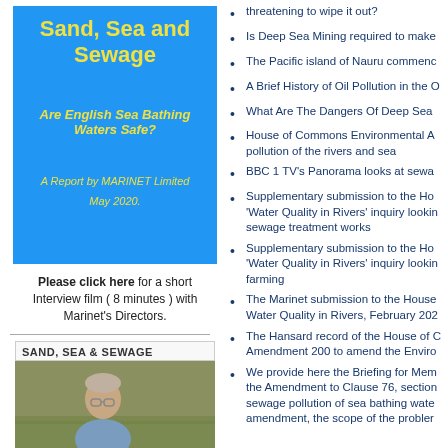[Figure (illustration): Book cover with blue background: 'Sand, Sea and Sewage' in yellow bold text, subtitle 'Are English Sea Bathing Waters Safe?' in yellow italic, 'A Report by MARINET Limited', 'May 2020.']
Please click here for a short Interview film ( 8 minutes ) with Marinet's Directors.
SAND, SEA & SEWAGE
[Figure (photo): Photo of an older man with glasses outdoors with grassland background]
Is Deep Sea Mining required to make
The Pacific island of Nauru commend
A Brief History of Oil Pollution in the O
What Are The Dangers Of Deep Sea
House of Commons Environmental A pollution of the rivers and sea
BBC 1 TV's Panorama looks at sewa
Supplementary submission to the Ho 'Water Quality in Rivers' inquiry lookin sewage treatment works
Supplementary submission to the Ho 'Water Quality in Rivers' inquiry lookin farming
The Marinet submission to the House Water Quality in Rivers, February 202
The Hansard record of the House of C Amendment 200 to amend the Enviro
We provide here the Briefing for Mem the Amendment to Clause 76, section sewage pollution of sea bathing wate amendment, the scope of the probler